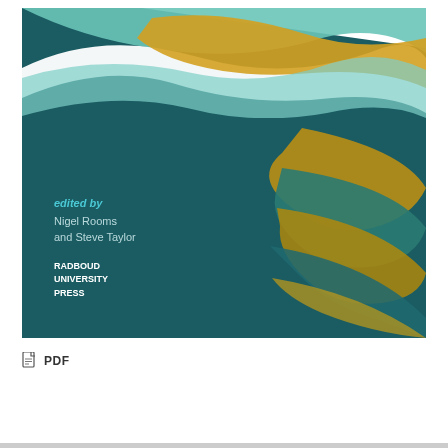[Figure (illustration): Book cover with dark teal background featuring flowing wave/feather shapes in teal, green, gold/yellow colors. Text reads 'edited by Nigel Rooms and Steve Taylor' and 'RADBOUD UNIVERSITY PRESS']
PDF